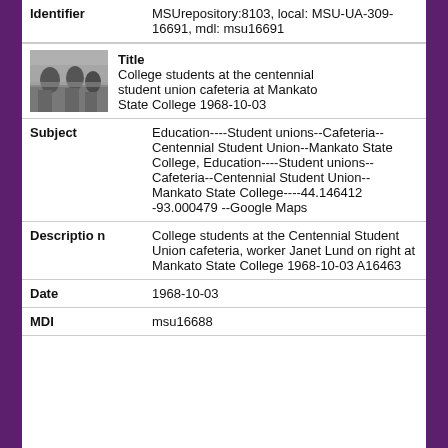| Field | Value |
| --- | --- |
| Identifier | MSUrepository:8103, local: MSU-UA-309-16691, mdl: msu16691 |
| Title | College students at the centennial student union cafeteria at Mankato State College 1968-10-03 |
| Subject | Education----Student unions--Cafeteria--Centennial Student Union--Mankato State College, Education----Student unions--Cafeteria--Centennial Student Union--Mankato State College----44.146412 -93.000479 --Google Maps |
| Description | College students at the Centennial Student Union cafeteria, worker Janet Lund on right at Mankato State College 1968-10-03 A16463 |
| Date | 1968-10-03 |
| MDL | msu16688 |